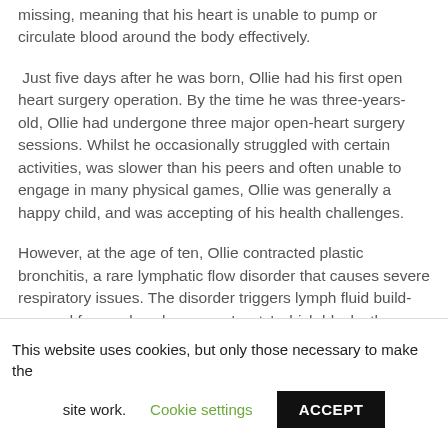missing, meaning that his heart is unable to pump or circulate blood around the body effectively.
Just five days after he was born, Ollie had his first open heart surgery operation. By the time he was three-years-old, Ollie had undergone three major open-heart surgery sessions. Whilst he occasionally struggled with certain activities, was slower than his peers and often unable to engage in many physical games, Ollie was generally a happy child, and was accepting of his health challenges.
However, at the age of ten, Ollie contracted plastic bronchitis, a rare lymphatic flow disorder that causes severe respiratory issues. The disorder triggers lymph fluid build-ups and forms plugs known as 'casts' which blocks the airways, making it difficult to breathe.
This website uses cookies, but only those necessary to make the site work.   Cookie settings   ACCEPT